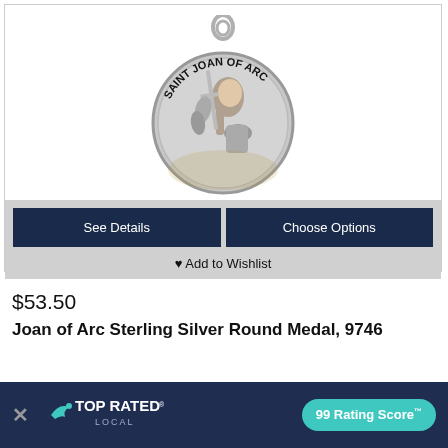[Figure (photo): Silver round medal of Saint Joan of Arc with a bail at the top, showing Saint Joan in profile holding a sword, with text 'SAINT JOAN OF ARC' around the edge. Watermark visible at bottom.]
See Details
Choose Options
♥ Add to Wishlist
$53.50
Joan of Arc Sterling Silver Round Medal, 9746
[Figure (logo): Top Rated Local logo with bird icon and '99 Rating Score™' badge in teal on dark navy background]